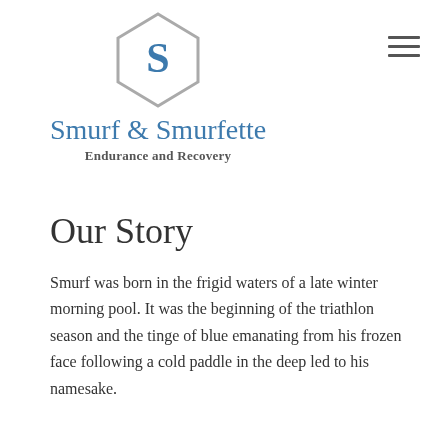[Figure (logo): Pentagon-shaped shield logo with letter S inside in blue, gray outline]
Smurf & Smurfette
Endurance and Recovery
Our Story
Smurf was born in the frigid waters of a late winter morning pool. It was the beginning of the triathlon season and the tinge of blue emanating from his frozen face following a cold paddle in the deep led to his namesake.